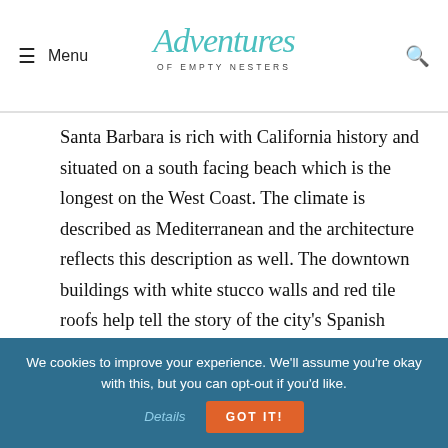Menu | Adventures of Empty Nesters
Santa Barbara is rich with California history and situated on a south facing beach which is the longest on the West Coast. The climate is described as Mediterranean and the architecture reflects this description as well. The downtown buildings with white stucco walls and red tile roofs help tell the story of the city's Spanish colonial heritage.
[Figure (photo): A photo showing a vivid blue sky with a palm tree visible in the upper right corner]
We cookies to improve your experience. We'll assume you're okay with this, but you can opt-out if you'd like. Details GOT IT!